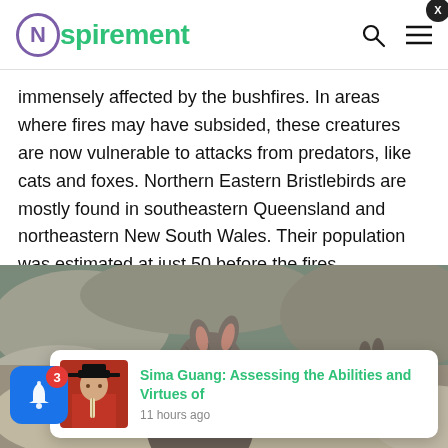Nspirement
immensely affected by the bushfires. In areas where fires may have subsided, these creatures are now vulnerable to attacks from predators, like cats and foxes. Northern Eastern Bristlebirds are mostly found in southeastern Queensland and northeastern New South Wales. Their population was estimated at just 50 before the fires.
[Figure (photo): A small marsupial (wallaby or rock wallaby) facing the camera among rocks, with another animal visible in the background]
[Figure (photo): Notification popup showing a thumbnail of a person in traditional Chinese scholar robes with the title 'Sima Guang: Assessing the Abilities and Virtues of' and timestamp '11 hours ago']